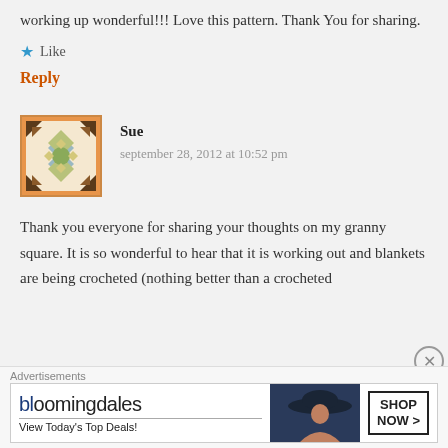working up wonderful!!! Love this pattern. Thank You for sharing.
★ Like
Reply
[Figure (illustration): Avatar image for user Sue — a decorative quilt/tile pattern with geometric shapes in orange, brown, teal, and green on a white background, framed by an orange border.]
Sue
september 28, 2012 at 10:52 pm
Thank you everyone for sharing your thoughts on my granny square. It is so wonderful to hear that it is working out and blankets are being crocheted (nothing better than a crocheted
Advertisements
[Figure (screenshot): Bloomingdale's advertisement banner: 'bloomingdales' logo with underline, tagline 'View Today's Top Deals!', image of a woman in a large-brimmed hat, and a 'SHOP NOW >' call-to-action button in a box.]